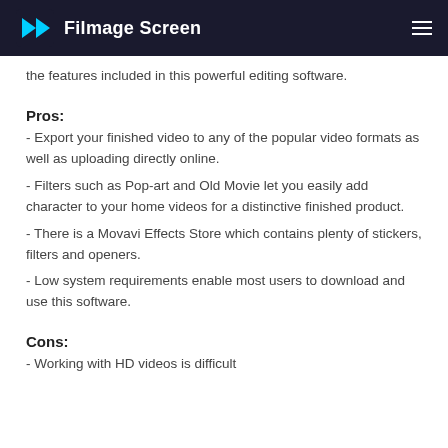Filmage Screen
the features included in this powerful editing software.
Pros:
- Export your finished video to any of the popular video formats as well as uploading directly online.
- Filters such as Pop-art and Old Movie let you easily add character to your home videos for a distinctive finished product.
- There is a Movavi Effects Store which contains plenty of stickers, filters and openers.
- Low system requirements enable most users to download and use this software.
Cons:
- Working with HD videos is difficult